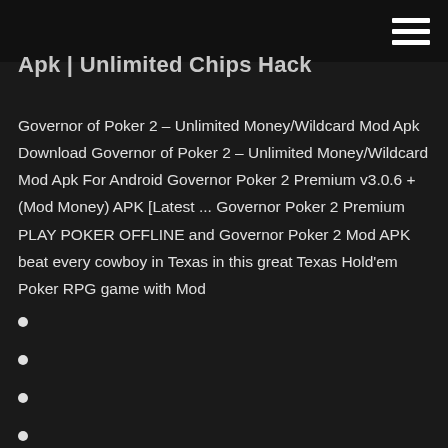Apk | Unlimited Chips Hack
Governor of Poker 2 – Unlimited Money/Wildcard Mod Apk Download Governor of Poker 2 – Unlimited Money/Wildcard Mod Apk For Android Governor Poker 2 Premium v3.0.6 + (Mod Money) APK [Latest ... Governor Poker 2 Premium PLAY POKER OFFLINE and Governor Poker 2 Mod APK beat every cowboy in Texas in this great Texas Hold'em Poker RPG game with Mod
Tragamonedas gratis para divertirse canadá